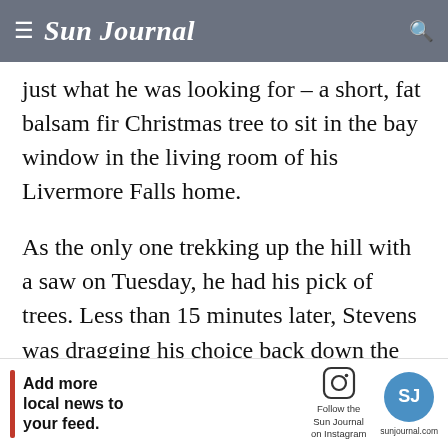Sun Journal
just what he was looking for – a short, fat balsam fir Christmas tree to sit in the bay window in the living room of his Livermore Falls home.
As the only one trekking up the hill with a saw on Tuesday, he had his pick of trees. Less than 15 minutes later, Stevens was dragging his choice back down the hill on a tarp to get it wrapped in netting and to pay for it.
Stevens is one of hundreds of Maine residents
[Figure (other): Advertisement banner: Add more local news to your feed. Follow the Sun Journal on Instagram. sunjournal.com logo.]